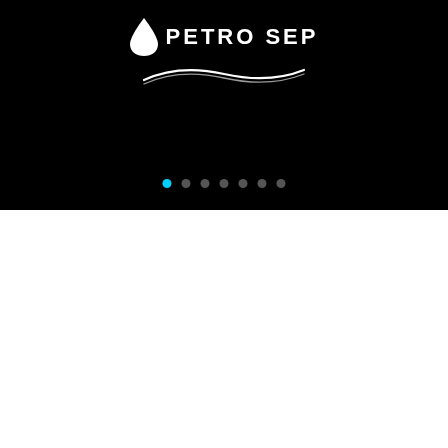[Figure (logo): Petro Sep logo with water drop icon and wave lines on black background, with carousel navigation dots]
DIDN'T FIND WHAT YOU'RE LOOKING FOR?
If you are still unsure and want to speak to someone